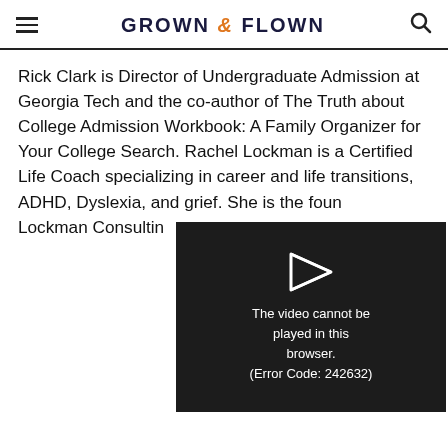GROWN & FLOWN
Rick Clark is Director of Undergraduate Admission at Georgia Tech and the co-author of The Truth about College Admission Workbook: A Family Organizer for Your College Search. Rachel Lockman is a Certified Life Coach specializing in career and life transitions, ADHD, Dyslexia, and grief. She is the founder of Lockman Consulting
[Figure (screenshot): Video player overlay showing error message: 'The video cannot be played in this browser. (Error Code: 242632)']
CONTINUE READING